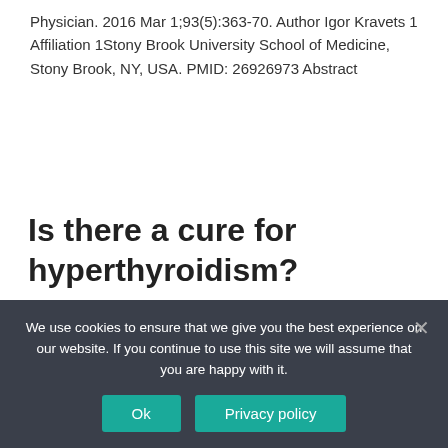Physician. 2016 Mar 1;93(5):363-70. Author Igor Kravets 1 Affiliation 1Stony Brook University School of Medicine, Stony Brook, NY, USA. PMID: 26926973 Abstract
Is there a cure for hyperthyroidism?
Munching on Oats is also an effective cure for hyperthyroidism as it reduces the exhaustion and weakness caused by excessive secretion of thyroid...
We use cookies to ensure that we give you the best experience on our website. If you continue to use this site we will assume that you are happy with it.